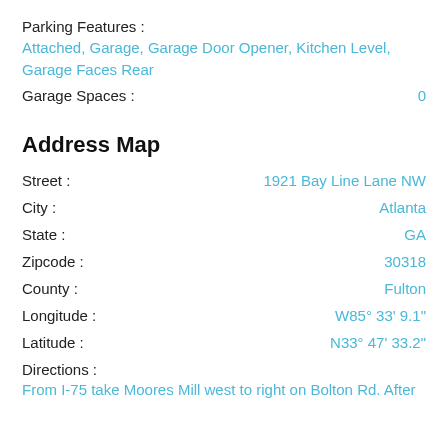Parking Features :
Attached, Garage, Garage Door Opener, Kitchen Level, Garage Faces Rear
Garage Spaces : 0
Address Map
Street : 1921 Bay Line Lane NW
City : Atlanta
State : GA
Zipcode : 30318
County : Fulton
Longitude : W85° 33' 9.1"
Latitude : N33° 47' 33.2"
Directions :
From I-75 take Moores Mill west to right on Bolton Rd. After